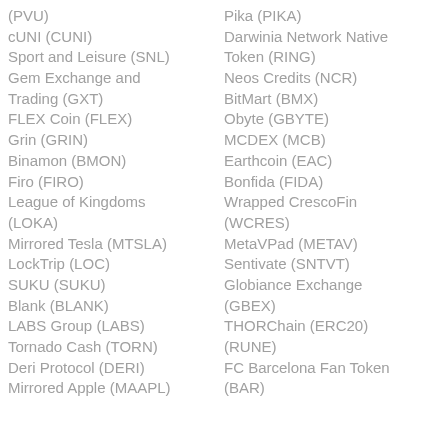(PVU)
cUNI (CUNI)
Sport and Leisure (SNL)
Gem Exchange and Trading (GXT)
FLEX Coin (FLEX)
Grin (GRIN)
Binamon (BMON)
Firo (FIRO)
League of Kingdoms (LOKA)
Mirrored Tesla (MTSLA)
LockTrip (LOC)
SUKU (SUKU)
Blank (BLANK)
LABS Group (LABS)
Tornado Cash (TORN)
Deri Protocol (DERI)
Mirrored Apple (MAAPL)
Pika (PIKA)
Darwinia Network Native Token (RING)
Neos Credits (NCR)
BitMart (BMX)
Obyte (GBYTE)
MCDEX (MCB)
Earthcoin (EAC)
Bonfida (FIDA)
Wrapped CrescoFin (WCRES)
MetaVPad (METAV)
Sentivate (SNTVT)
Globiance Exchange (GBEX)
THORChain (ERC20) (RUNE)
FC Barcelona Fan Token (BAR)